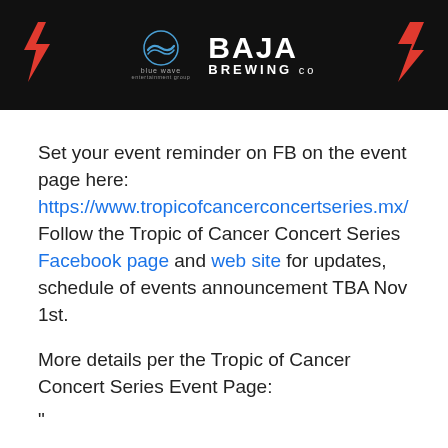[Figure (logo): Black banner with Blue Wave Entertainment Group logo and Baja Brewing Co logo, with red lightning bolt decorations on sides]
Set your event reminder on FB on the event page here: https://www.tropicofcancerconcertseries.mx/ Follow the Tropic of Cancer Concert Series Facebook page and web site for updates, schedule of events announcement TBA Nov 1st.
More details per the Tropic of Cancer Concert Series Event Page:
“
TROPIC OF CANCER CONCERT SERIES
January 10-20, 2019
We are thrilled to announce that the Tropic of Cancer Concert Series will return to Todos Santos, Mexico on